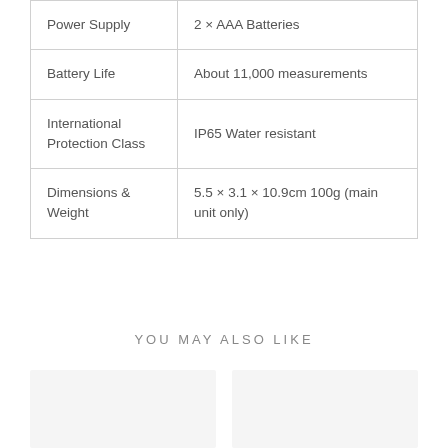| Power Supply | 2 × AAA Batteries |
| Battery Life | About 11,000 measurements |
| International Protection Class | IP65 Water resistant |
| Dimensions & Weight | 5.5 × 3.1 × 10.9cm 100g (main unit only) |
YOU MAY ALSO LIKE